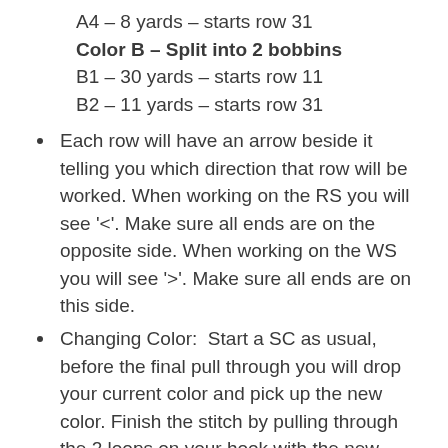A4 – 8 yards – starts row 31
Color B – Split into 2 bobbins
B1 – 30 yards – starts row 11
B2 – 11 yards – starts row 31
Each row will have an arrow beside it telling you which direction that row will be worked. When working on the RS you will see '<'. Make sure all ends are on the opposite side. When working on the WS you will see '>'. Make sure all ends are on this side.
Changing Color: Start a SC as usual, before the final pull through you will drop your current color and pick up the new color. Finish the stitch by pulling through the 2 loops on your hook with the new color. The